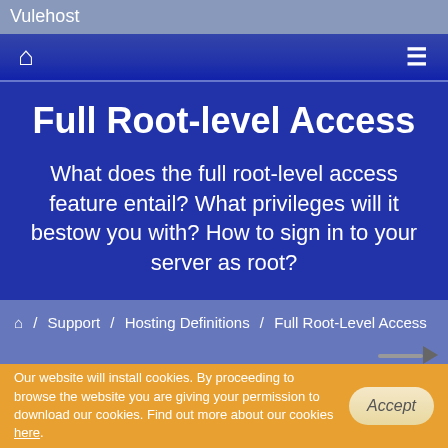Vulehost
Full Root-level Access
What does the full root-level access feature entail? What privileges will it bestow you with? How to sign in to your server as root?
🏠 / Support / Hosting Definitions / Full Root-Level Access
Our website will install cookies. By proceeding to browse the website you are giving your permission to download our cookies. Find out more about our cookies here.